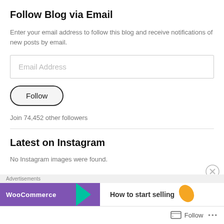Follow Blog via Email
Enter your email address to follow this blog and receive notifications of new posts by email.
Email Address
Follow
Join 74,452 other followers
Latest on Instagram
No Instagram images were found.
Advertisements
[Figure (screenshot): WooCommerce advertisement banner showing purple logo with teal arrow and orange leaf, text 'How to start selling']
Follow ···